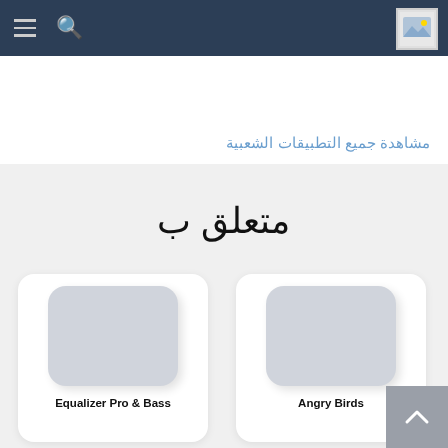Navigation header with hamburger menu, search icon, and image placeholder
مشاهدة جميع التطبيقات الشعبية
متعلق ب
[Figure (screenshot): App icon placeholder for Equalizer Pro & Bass Booster]
Equalizer Pro & Bass
[Figure (screenshot): App icon placeholder for Angry Birds Transform]
Angry Birds